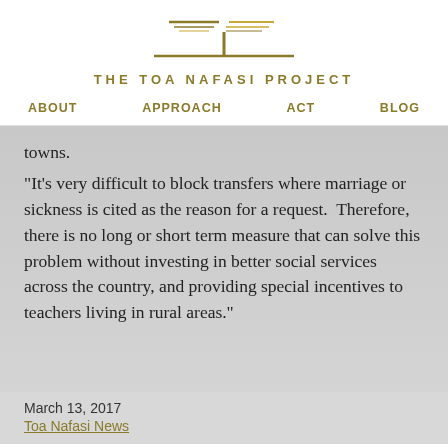[Figure (logo): The Toa Nafasi Project logo — stylized tree with horizontal lines above and a vertical trunk with a base line, in olive/gold color]
THE TOA NAFASI PROJECT
ABOUT   APPROACH   ACT   BLOG
towns.
“It’s very difficult to block transfers where marriage or sickness is cited as the reason for a request.  Therefore, there is no long or short term measure that can solve this problem without investing in better social services across the country, and providing special incentives to teachers living in rural areas.”
March 13, 2017
Toa Nafasi News